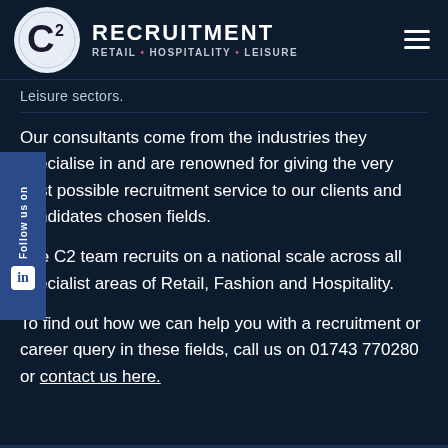[Figure (logo): C2 Recruitment logo with circular C2 icon and text RECRUITMENT / RETAIL • HOSPITALITY • LEISURE and hamburger menu icon]
Leisure sectors.
Our consultants come from the industries they specialise in and are renowned for giving the very best possible recruitment service to our clients and candidates chosen fields.
The C2 team recruits on a national scale across all specialist areas of Retail, Fashion and Hospitality.
To find out how we can help you with a recruitment or career query in these fields, call us on 01743 770280 or contact us here.